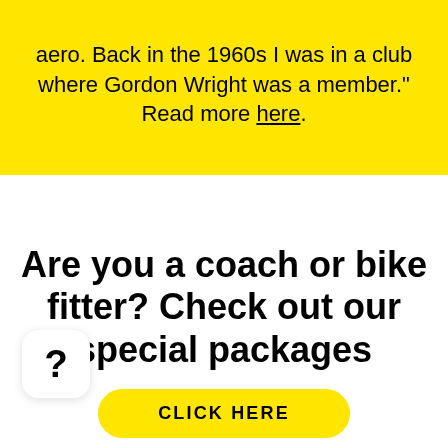aero. Back in the 1960s I was in a club where Gordon Wright was a member." Read more here.
Are you a coach or bike fitter? Check out our special packages
CLICK HERE